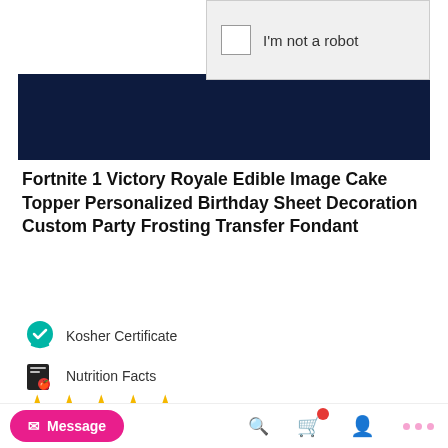[Figure (screenshot): Partial CAPTCHA widget screenshot showing dark navy background with white cutout area and 'I'm not a robot' checkbox panel on the right]
Fortnite 1 Victory Royale Edible Image Cake Topper Personalized Birthday Sheet Decoration Custom Party Frosting Transfer Fondant
[Figure (logo): Kosher Certificate icon (teal badge with checkmark)]
Kosher Certificate
[Figure (logo): Nutrition Facts icon (document with apple)]
Nutrition Facts
[Figure (other): Five gold star rating]
7 Review(s) | Add Your Review